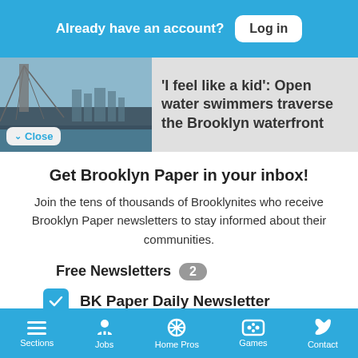Already have an account? Log in
'I feel like a kid': Open water swimmers traverse the Brooklyn waterfront
Get Brooklyn Paper in your inbox!
Join the tens of thousands of Brooklynites who receive Brooklyn Paper newsletters to stay informed about their communities.
Free Newsletters 2
BK Paper Daily Newsletter
BK Paper Events
Sections  Jobs  Home Pros  Games  Contact